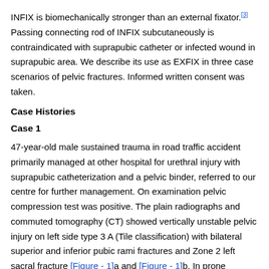INFIX is biomechanically stronger than an external fixator.[3] Passing connecting rod of INFIX subcutaneously is contraindicated with suprapubic catheter or infected wound in suprapubic area. We describe its use as EXFIX in three case scenarios of pelvic fractures. Informed written consent was taken.
Case Histories
Case 1
47-year-old male sustained trauma in road traffic accident primarily managed at other hospital for urethral injury with suprapubic catheterization and a pelvic binder, referred to our centre for further management. On examination pelvic compression test was positive. The plain radiographs and commuted tomography (CT) showed vertically unstable pelvic injury on left side type 3 A (Tile classification) with bilateral superior and inferior pubic rami fractures and Zone 2 left sacral fracture [Figure - 1]a and [Figure - 1]b. In prone position posterior stabilization was done using iliosacral screw between S1 and S2 crossing both sacroiliac joints. Using left paramidline incision in lower lumbar region, left L5 and Ilium (Spinopelvic fixation) were stabilized with pedicle screw and rod construct. Following this patient was turned supine and INFIX as EXFIX was